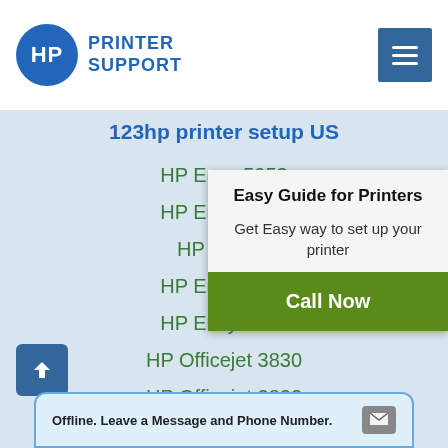HP PRINTER SUPPORT
123hp printer setup US
HP Envy 5052
HP Envy 5055
HP Envy 5
HP Envy 6055
HP Envy 6052
HP Officejet 3830
HP Officejet 3833
HP Officejet 5252
HP Officejet 5255
[Figure (infographic): Easy Guide for Printers popup with heading, subtitle 'Get Easy way to set up your printer', and green Call Now button]
Offline. Leave a Message and Phone Number.